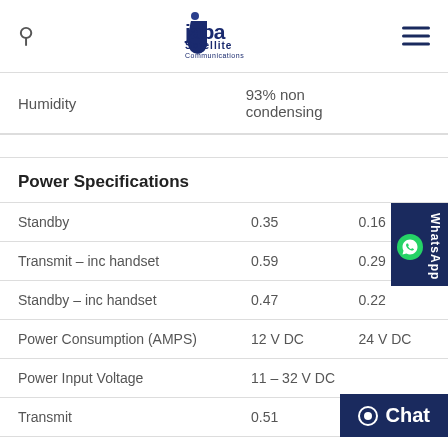Jaba Satellite Communications
|  |  |  |
| --- | --- | --- |
| Humidity | 93% non condensing |  |
Power Specifications
|  | 12 V DC | 24 V DC |
| --- | --- | --- |
| Standby | 0.35 | 0.16 |
| Transmit – inc handset | 0.59 | 0.29 |
| Standby – inc handset | 0.47 | 0.22 |
| Power Consumption (AMPS) | 12 V DC | 24 V DC |
| Power Input Voltage | 11 – 32 V DC |  |
| Transmit | 0.51 |  |